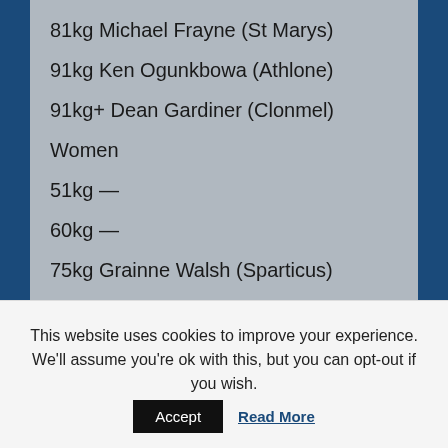81kg Michael Frayne (St Marys)
91kg Ken Ogunkbowa (Athlone)
91kg+ Dean Gardiner (Clonmel)
Women
51kg —
60kg —
75kg Grainne Walsh (Sparticus)
← SEAN MCCOMB RTE INTERVIEW
Our Sponsors
This website uses cookies to improve your experience. We'll assume you're ok with this, but you can opt-out if you wish.
Accept
Read More